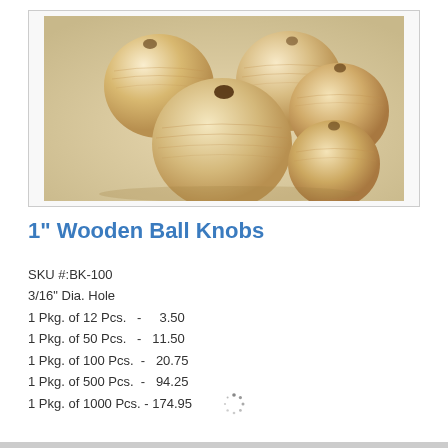[Figure (photo): Five natural unfinished wooden ball knobs with drilled holes, arranged in a cluster on a light background.]
1" Wooden Ball Knobs
SKU #:BK-100
3/16" Dia. Hole
1 Pkg. of 12 Pcs.  -    3.50
1 Pkg. of 50 Pcs.  -  11.50
1 Pkg. of 100 Pcs.  -  20.75
1 Pkg. of 500 Pcs.  -  94.25
1 Pkg. of 1000 Pcs. - 174.95